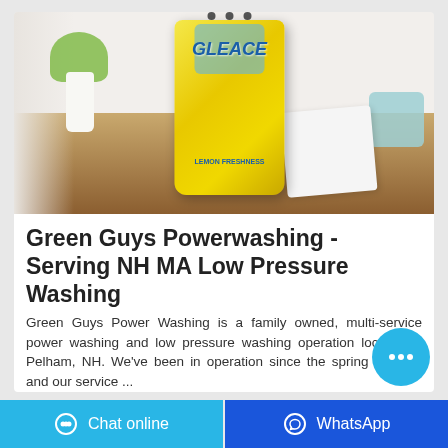[Figure (photo): A yellow bag of Gleace Lemon Freshness laundry detergent powder sitting on a wooden table, with a white cloth beside it, a basket on the right, and a plant in a vase on the left, against a light wall background.]
Green Guys Powerwashing - Serving NH MA Low Pressure Washing
Green Guys Power Washing is a family owned, multi-service power washing and low pressure washing operation located in Pelham, NH. We've been in operation since the spring of 2008 and our service ...